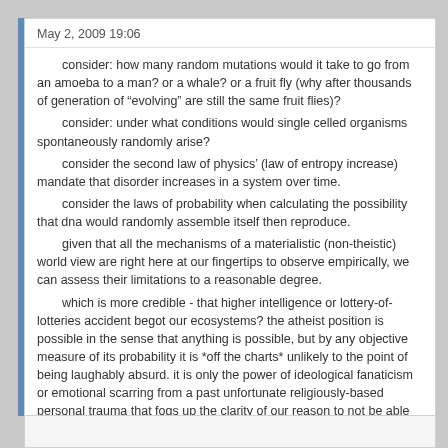May 2, 2009 19:06
consider: how many random mutations would it take to go from an amoeba to a man? or a whale? or a fruit fly (why after thousands of generation of "evolving" are still the same fruit flies)?
consider: under what conditions would single celled organisms spontaneously randomly arise?
consider the second law of physics' (law of entropy increase) mandate that disorder increases in a system over time.
consider the laws of probability when calculating the possibility that dna would randomly assemble itself then reproduce.
given that all the mechanisms of a materialistic (non-theistic) world view are right here at our fingertips to observe empirically, we can assess their limitations to a reasonable degree.
which is more credible - that higher intelligence or lottery-of-lotteries accident begot our ecosystems? the atheist position is possible in the sense that anything is possible, but by any objective measure of its probability it is *off the charts* unlikely to the point of being laughably absurd. it is only the power of ideological fanaticism or emotional scarring from a past unfortunate religiously-based personal trauma that fogs up the clarity of our reason to not be able to appreciate this point.
bro_in_law